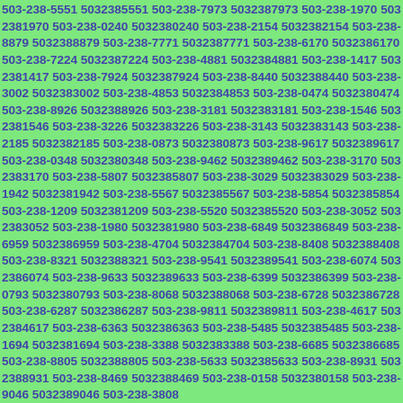503-238-5551 5032385551 503-238-7973 5032387973 503-238-1970 5032381970 503-238-0240 5032380240 503-238-2154 5032382154 503-238-8879 5032388879 503-238-7771 5032387771 503-238-6170 5032386170 503-238-7224 5032387224 503-238-4881 5032384881 503-238-1417 5032381417 503-238-7924 5032387924 503-238-8440 5032388440 503-238-3002 5032383002 503-238-4853 5032384853 503-238-0474 5032380474 503-238-8926 5032388926 503-238-3181 5032383181 503-238-1546 5032381546 503-238-3226 5032383226 503-238-3143 5032383143 503-238-2185 5032382185 503-238-0873 5032380873 503-238-9617 5032389617 503-238-0348 5032380348 503-238-9462 5032389462 503-238-3170 5032383170 503-238-5807 5032385807 503-238-3029 5032383029 503-238-1942 5032381942 503-238-5567 5032385567 503-238-5854 5032385854 503-238-1209 5032381209 503-238-5520 5032385520 503-238-3052 5032383052 503-238-1980 5032381980 503-238-6849 5032386849 503-238-6959 5032386959 503-238-4704 5032384704 503-238-8408 5032388408 503-238-8321 5032388321 503-238-9541 5032389541 503-238-6074 5032386074 503-238-9633 5032389633 503-238-6399 5032386399 503-238-0793 5032380793 503-238-8068 5032388068 503-238-6728 5032386728 503-238-6287 5032386287 503-238-9811 5032389811 503-238-4617 5032384617 503-238-6363 5032386363 503-238-5485 5032385485 503-238-1694 5032381694 503-238-3388 5032383388 503-238-6685 5032386685 503-238-8805 5032388805 503-238-5633 5032385633 503-238-8931 5032388931 503-238-8469 5032388469 503-238-0158 5032380158 503-238-9046 5032389046 503-238-3808